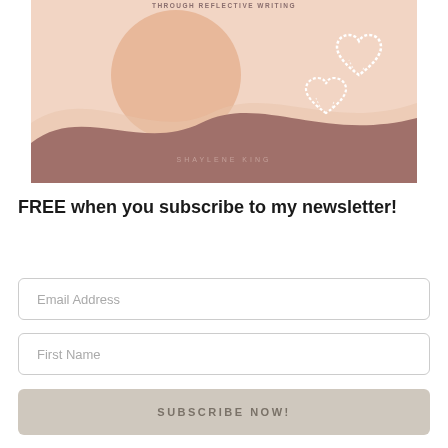[Figure (illustration): Book cover illustration with peach/mauve wavy shapes, large peach circle, white sketched hearts, and author name 'SHAYLENE KING'. Top text reads 'THROUGH REFLECTIVE WRITING'.]
FREE when you subscribe to my newsletter!
Email Address
First Name
SUBSCRIBE NOW!